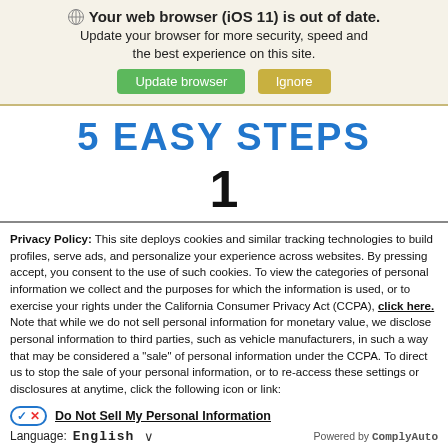Your web browser (iOS 11) is out of date. Update your browser for more security, speed and the best experience on this site. [Update browser] [Ignore]
5 EASY STEPS
1
Privacy Policy: This site deploys cookies and similar tracking technologies to build profiles, serve ads, and personalize your experience across websites. By pressing accept, you consent to the use of such cookies. To view the categories of personal information we collect and the purposes for which the information is used, or to exercise your rights under the California Consumer Privacy Act (CCPA), click here. Note that while we do not sell personal information for monetary value, we disclose personal information to third parties, such as vehicle manufacturers, in such a way that may be considered a "sale" of personal information under the CCPA. To direct us to stop the sale of your personal information, or to re-access these settings or disclosures at anytime, click the following icon or link:
Do Not Sell My Personal Information
Language: English  ∨  Powered by ComplyAuto
Accept and Continue →  California Privacy Disclosures  ✕